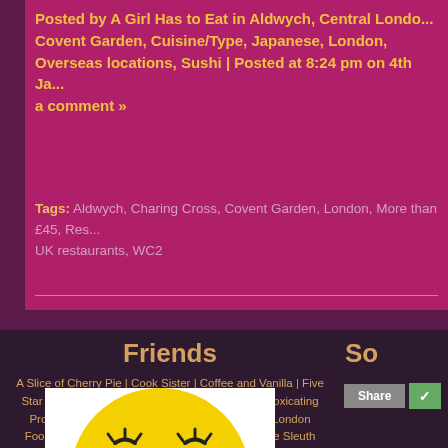Posted by A Girl Has to Eat in Aldwych, Central London, Covent Garden, Cuisine/Type, Japanese, London, Overseas locations, Sushi | Posted at 8:24 pm on 4th Ja... a comment »
Tags: Aldwych, Charing Cross, Covent Garden, London, More than £45, Res... UK restaurants, WC2
Friends
A Slice of Cherry Pie | Cook Sister | Coffee and Vanilla | Five Star Foodie | gen.u.ine.ness | Gourmet Chick | Intoxicating Prose | Lizzie Eats London | Londoneater | The London Foodie | Londonelicious | Loving Annie | The Wine Sleuth
So
Share
[Figure (illustration): Yellow smiley face emoji illustration with closed eyelashes, partially visible at bottom]